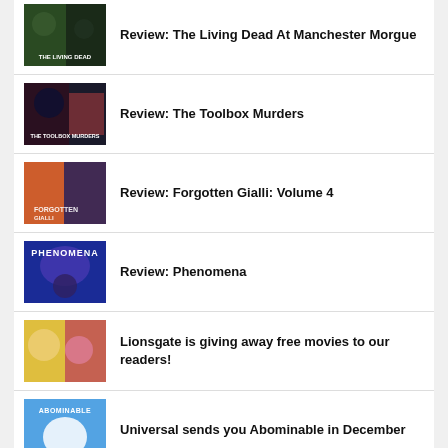Review: The Living Dead At Manchester Morgue
Review: The Toolbox Murders
Review: Forgotten Gialli: Volume 4
Review: Phenomena
Lionsgate is giving away free movies to our readers!
Universal sends you Abominable in December